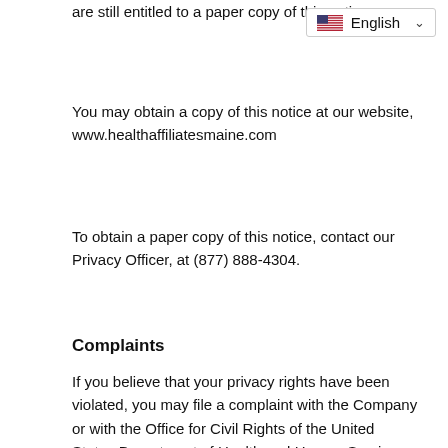are still entitled to a paper copy of this notice.
You may obtain a copy of this notice at our website, www.healthaffiliatesmaine.com
To obtain a paper copy of this notice, contact our Privacy Officer, at (877) 888-4304.
Complaints
If you believe that your privacy rights have been violated, you may file a complaint with the Company or with the Office for Civil Rights of the United States Department of Health and Human Services. All complaints must be submitted in writing. You will not